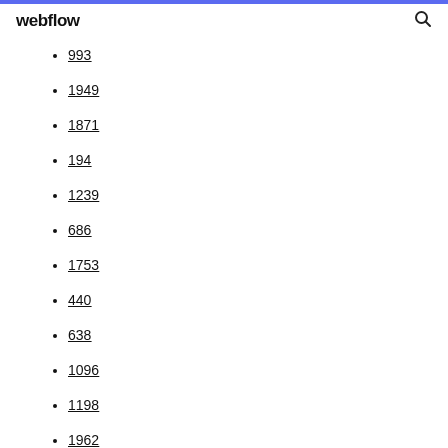webflow
993
1949
1871
194
1239
686
1753
440
638
1096
1198
1962
14